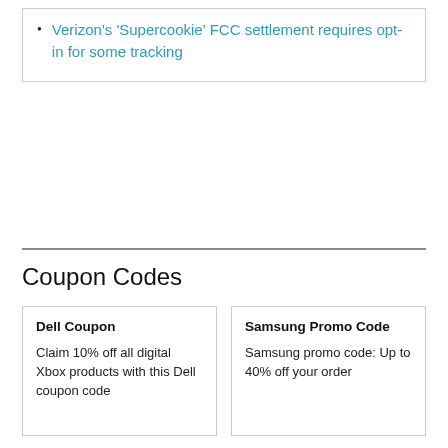Verizon's 'Supercookie' FCC settlement requires opt-in for some tracking
Coupon Codes
Dell Coupon
Claim 10% off all digital Xbox products with this Dell coupon code
Samsung Promo Code
Samsung promo code: Up to 40% off your order